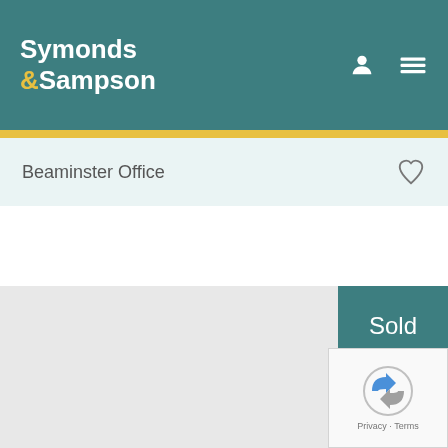Symonds & Sampson
Beaminster Office
[Figure (photo): Gray placeholder image area with a 'Sold' badge in teal in the top-right corner]
[Figure (other): Google reCAPTCHA widget showing the reCAPTCHA logo and Privacy - Terms footer text]